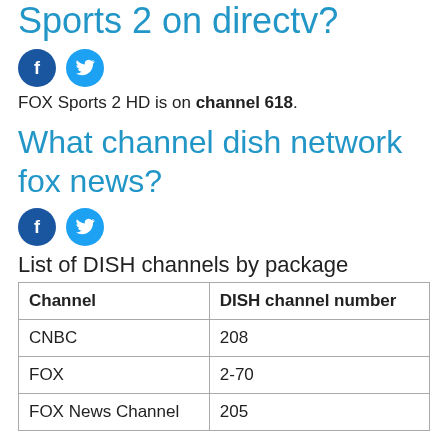Sports 2 on directv?
[Figure (other): Facebook and Twitter social share icons]
FOX Sports 2 HD is on channel 618.
What channel dish network fox news?
[Figure (other): Facebook and Twitter social share icons]
List of DISH channels by package
| Channel | DISH channel number |
| --- | --- |
| CNBC | 208 |
| FOX | 2-70 |
| FOX News Channel | 205 |